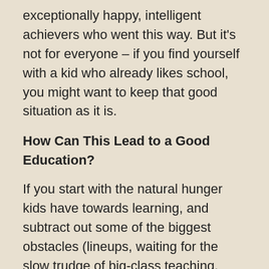exceptionally happy, intelligent achievers who went this way. But it's not for everyone – if you find yourself with a kid who already likes school, you might want to keep that good situation as it is.
How Can This Lead to a Good Education?
If you start with the natural hunger kids have towards learning, and subtract out some of the biggest obstacles (lineups, waiting for the slow trudge of big-class teaching, boring and repetitive activities), you find that you can exceed the actual academic learning contained in a typical school day with just an hour or two of concentrated effort. You can double the pace by throwing in a second hour or more. And this leaves the rest of the day to broaden the benefits – activities with other people, physical challenges, educational trips, etc. You can also let the kid run free with uninterrupted time when he does